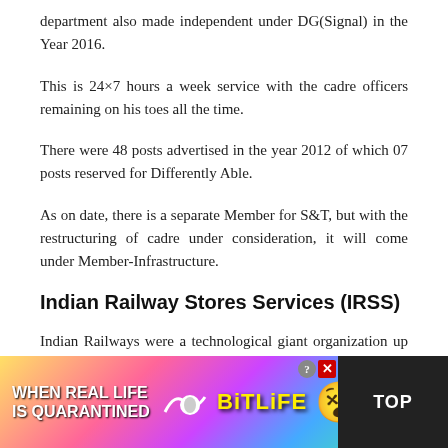department also made independent under DG(Signal) in the Year 2016.
This is 24×7 hours a week service with the cadre officers remaining on his toes all the time.
There were 48 posts advertised in the year 2012 of which 07 posts reserved for Differently Able.
As on date, there is a separate Member for S&T, but with the restructuring of cadre under consideration, it will come under Member-Infrastructure.
Indian Railway Stores Services (IRSS)
Indian Railways were a technological giant organization up to 50's and most of the manufacturing of major equipment like coaches, wagons, locomotives, other components...